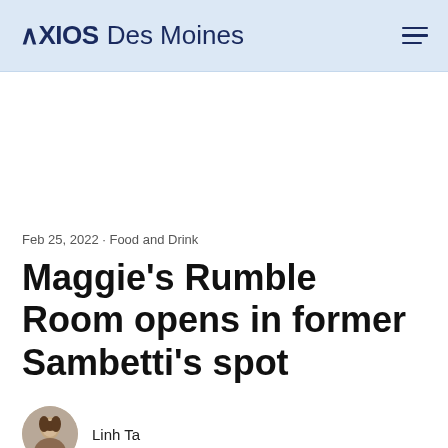AXIOS Des Moines
Feb 25, 2022 - Food and Drink
Maggie's Rumble Room opens in former Sambetti's spot
Linh Ta